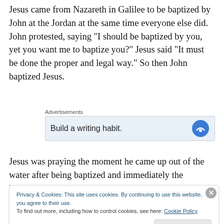Jesus came from Nazareth in Galilee to be baptized by John at the Jordan at the same time everyone else did. John protested, saying “I should be baptized by you, yet you want me to baptize you?” Jesus said “It must be done the proper and legal way.” So then John baptized Jesus.
[Figure (screenshot): Advertisement box with label 'Advertisements' and text 'Build a writing habit.' with a blue icon on the right side]
Jesus was praying the moment he came up out of the water after being baptized and immediately the heavens
Privacy & Cookies: This site uses cookies. By continuing to use this website, you agree to their use.
To find out more, including how to control cookies, see here: Cookie Policy
[Close and accept button]